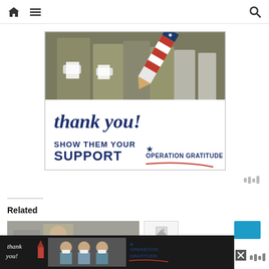Navigation bar with home icon, menu icon, and search icon
[Figure (photo): Operation Gratitude advertisement showing military personnel in masks holding papers, with a patriotic pencil graphic and cursive 'thank you!' text. Below reads 'SHOW THEM YOUR SUPPORT' and 'OPERATION GRATITUDE' logo.]
Related
[Figure (photo): Related article thumbnail showing a person in a classroom setting.]
[Figure (photo): Related article thumbnail showing a small image placeholder icon.]
[Figure (photo): Bottom banner advertisement for Operation Gratitude with 'thank you!' text, healthcare workers photo, and Operation Gratitude logo on dark background.]